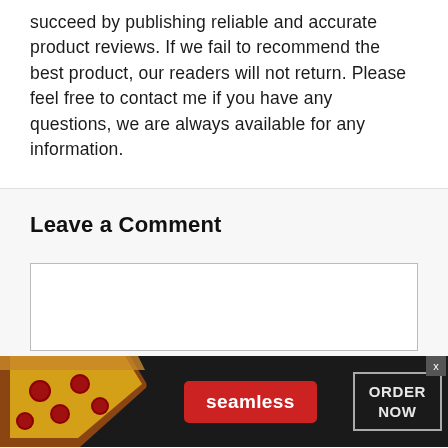succeed by publishing reliable and accurate product reviews. If we fail to recommend the best product, our readers will not return. Please feel free to contact me if you have any questions, we are always available for any information.
Leave a Comment
[Figure (screenshot): Seamless food delivery advertisement banner with pizza image on left, red 'seamless' button in center, and 'ORDER NOW' button on right, on dark background. Has an X close button.]